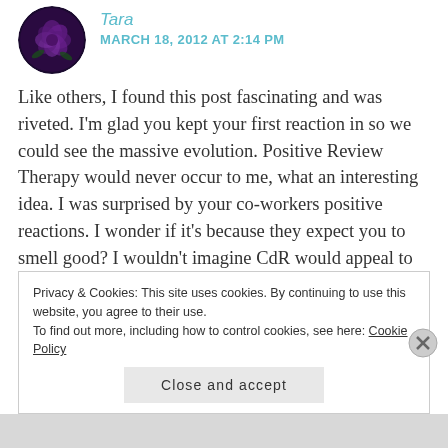Tara — MARCH 18, 2012 AT 2:14 PM
Like others, I found this post fascinating and was riveted. I'm glad you kept your first reaction in so we could see the massive evolution. Positive Review Therapy would never occur to me, what an interesting idea. I was surprised by your co-workers positive reactions. I wonder if it's because they expect you to smell good? I wouldn't imagine CdR would appeal to most people but then Book People are not your average people!
Privacy & Cookies: This site uses cookies. By continuing to use this website, you agree to their use.
To find out more, including how to control cookies, see here: Cookie Policy
Close and accept